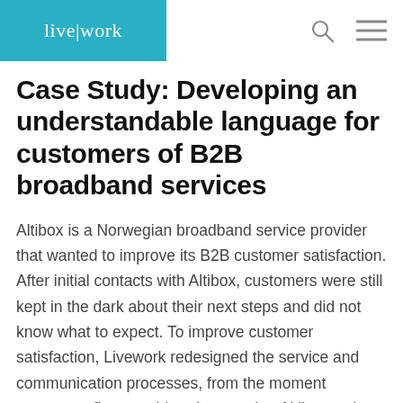[Figure (logo): live|work logo in white text on teal/cyan background header bar]
Case Study: Developing an understandable language for customers of B2B broadband services
Altibox is a Norwegian broadband service provider that wanted to improve its B2B customer satisfaction. After initial contacts with Altibox, customers were still kept in the dark about their next steps and did not know what to expect. To improve customer satisfaction, Livework redesigned the service and communication processes, from the moment customers first considered contacting Altibox to the implementation of a new broadband infrastructure. A segmentation model was designed for